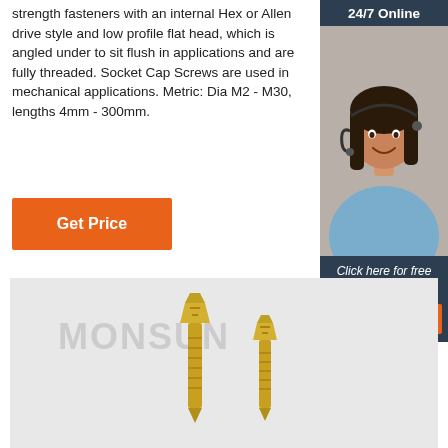strength fasteners with an internal Hex or Allen drive style and low profile flat head, which is angled under to sit flush in applications and are fully threaded. Socket Cap Screws are used in mechanical applications. Metric: Dia M2 - M30, lengths 4mm - 300mm.
Get Price
[Figure (infographic): 24/7 online chat widget with a photo of a smiling customer service representative wearing a headset, dark background header saying '24/7 Online', footer saying 'Click here for free chat!' and an orange 'QUOTATION' button.]
[Figure (photo): Product photo on light grey background with MONSUN watermark text, showing two gold/brass colored screw-like fasteners of different sizes.]